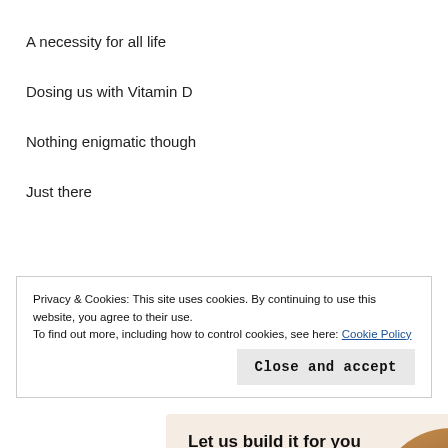A necessity for all life
Dosing us with Vitamin D
Nothing enigmatic though
Just there
[Figure (illustration): A promotional box with beige/warm background showing 'Let us build it for you' heading, a 'Let's get started' button, and a circular cropped photo of hands typing on a laptop. A small icon appears at the bottom left.]
Privacy & Cookies: This site uses cookies. By continuing to use this website, you agree to their use.
To find out more, including how to control cookies, see here: Cookie Policy
Close and accept